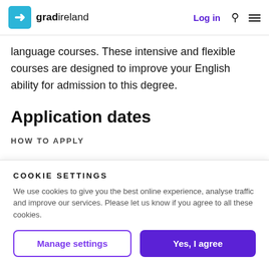gradireland — Log in
language courses. These intensive and flexible courses are designed to improve your English ability for admission to this degree.
Application dates
HOW TO APPLY
COOKIE SETTINGS
We use cookies to give you the best online experience, analyse traffic and improve our services. Please let us know if you agree to all these cookies.
Manage settings
Yes, I agree